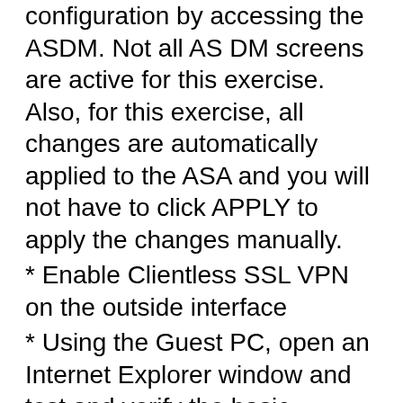configuration by accessing the ASDM. Not all AS DM screens are active for this exercise. Also, for this exercise, all changes are automatically applied to the ASA and you will not have to click APPLY to apply the changes manually.
* Enable Clientless SSL VPN on the outside interface
* Using the Guest PC, open an Internet Explorer window and test and verify the basic connection to the SSL VPN portal using address: https://vpn-secure-x.public
* a. You may notice a certificate error in the status bar, this can be ignored for this exercise